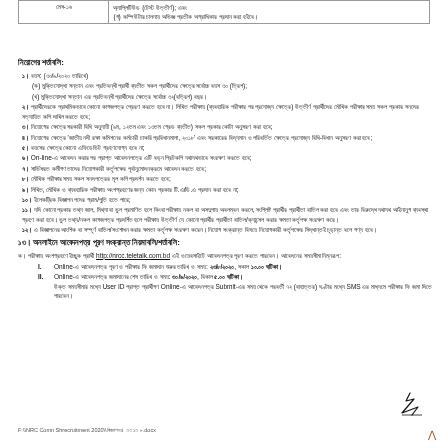|  |  |
| --- | --- |
| অ্যাপ্লিটিউড (টেস্ট উত্তীর্ণ); এবং | (গ) কম্পিউটার চালনায় অভিজ্ঞ প্রতীক অগ্রাধিকার প্রদান করা হইবে। |
নিয়োগের শর্তাবলি:
১। বয়স: (৩০/৯/২০২০ তারিখে)
(ক) মুক্তিযোদ্ধা সন্তান এবং প্রতিবন্ধী প্রার্থী ব্যতীত সকল প্রার্থীদের ক্ষেত্রে সর্বোচ্চ বয়স ৩০ (ত্রিশ);
(খ) মুক্তিযোদ্ধা সন্তান এর প্রতিবন্ধী প্রার্থীদের ক্ষেত্রে সর্বোচ্চ ৩২(বত্রিশ) বছর।
২। প্রার্থীদেরকে প্রাথমিকভাবে কোনো কাগজপত্র প্রেরণ করতে হবে না। লিখিত পরীক্ষায় (ব্যবহারিক পরীক্ষার পর প্রযোজ্য ক্ষেত্রে) উত্তীর্ণ প্রার্থীদের মৌখিক পরীক্ষার সময় সকল প্রকার সনদের সত্যায়িত কপি দাখিল করতে হবে;
৩। নিয়োগের ক্ষেত্রে সরকারী বিধি অনুযায়ী (৯ম, ১২তম এবং ১৩তম গ্রেড ব্যতীত) সকল প্রকার কোটা অনুসরণ করা হবে;
৪। নিয়োগের ক্ষেত্রে 'জাতীয় নদী রক্ষা কমিশনের কর্মচারী চাকরি প্রবিধানমালা, ২০১৮' এবং সরকারের বিদ্যমান ও পরিবর্তিত ক্ষেত্রে প্রযোজ্য বিধি-বিধান অনুসরণ করা হবে;
৫। বয়সের ক্ষেত্রে কোনো এফিডেভিট গ্রহণযোগ্য হবে না;
৬। On-line-এ আবেদন করার পর প্রাপ্ত আবেদনপত্রে এটি বড়ন প্রিটকপি যথাযথভাবে সংরক্ষণ করতে হবে;
৭। সার্ভিসরত কর্মীগণ তাদের নিয়োগকারী কর্তৃপক্ষের পূর্বানুমোদনক্রমে আবেদন করতে হবে;
৮। মৌখিক পরীক্ষার সময় সকল সনদপত্রের মূল কপি প্রদর্শন করতে হবে;
৯। লিখিত, মৌখিক ও ব্যবহারিক পরীক্ষায় অংশগ্রহণের জন্য কোন প্রকার টি.এ/ডি.এ প্রদান করা হবে না;
১০। ইলেকট্রিক বিজ্ঞাপন পদের গ্রাম/পুতি হতে পারে;
১১। যদি কোনো প্রকার তথ্য জাল, মিথ্যা বা ভুল প্রমাণিত হলে কিংবা পরীক্ষায় নকল বা অসদুপায় অবলম্বন করলে, সংশ্লিষ্ট প্রার্থীর প্রার্থীতা বাতিল করা হবে এবং তার বিরুদ্ধে যথাযথ আইনানুগ ব্যবস্থা গ্রহণ করা হবে। ভুল তথ্য/নকল কাগজপত্র প্রদর্শিত হলে পরীক্ষায় উত্তীর্ণ যে কোনো প্রার্থীর প্রার্থীতা বাতিল/ক্যান্সেল করার ক্ষমতা কর্তৃপক্ষ সংরক্ষণ করে।
১২। এ বিজ্ঞাপনের আংশিক বা সম্পূর্ণ বাতিল/সংশোধন করার ক্ষমতা কর্তৃপক্ষ সংরক্ষণ করেন। নিয়োগ সংক্রান্ত বিষয়ে নিয়োগকারী কর্তৃপক্ষের সিদ্ধান্তই চূড়ান্ত বলে গণ্য হবে।
১৩। অনলাইনে আবেদনপত্র পূরণ সংক্রান্ত নিয়মাবলি/শর্তাবলি:
ক। পরীক্ষায় অংশগ্রহণে ইচ্ছুক প্রার্থী http://nrcc.teletalk.com.bd এই ওয়েবসাইটে আবেদনপত্র পূরণ করতে পারবেন। আবেদনের সময়সীমা নিম্নরূপ:
I. Online-এ আবেদনপত্র পূরণ ও পরীক্ষার ফি জমাদান শুরুর তারিখ ও সময়: ২৩/৮/২০২০, সকাল ১০.০০ ঘটিকা।
II. Online-এ আবেদনপত্র জমাদানের শেষ তারিখ ও সময়: ৩০/৯/২০২০, বিকাল ৫.০০ ঘটিকা। উক্ত সময়সীমার মধ্যে User ID প্রাপ্ত প্রার্থীগণ Online-এ আবেদনপত্র Submit-এর সময় থেকে পরবর্তী ৭২ (বাহাত্তর) ঘণ্টার মধ্যে SMS এর মাধ্যমে পরীক্ষার ফি জমা দিতে পারবেন।
F:\NRC Comn Shrecruitment 2020\বিজ্ঞাপন ৪ ৩৩ ১৩ ৮.docx